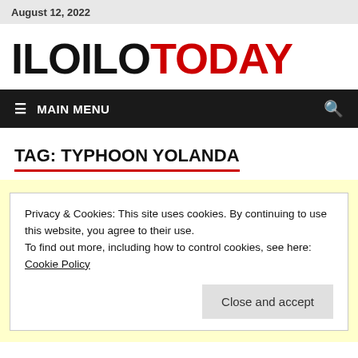August 12, 2022
ILOILOTODAY
≡ MAIN MENU
TAG: TYPHOON YOLANDA
Privacy & Cookies: This site uses cookies. By continuing to use this website, you agree to their use.
To find out more, including how to control cookies, see here: Cookie Policy
Close and accept